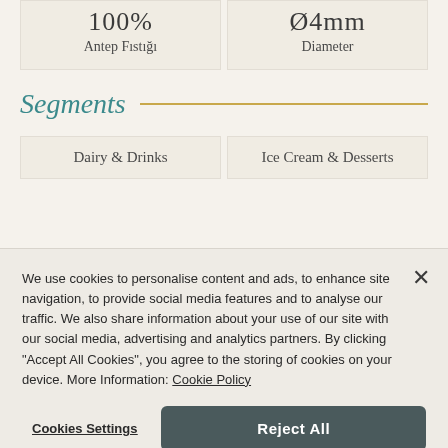100% Antep Fıstığı
Ø4mm Diameter
Segments
Dairy & Drinks
Ice Cream & Desserts
We use cookies to personalise content and ads, to enhance site navigation, to provide social media features and to analyse our traffic. We also share information about your use of our site with our social media, advertising and analytics partners. By clicking "Accept All Cookies", you agree to the storing of cookies on your device. More Information: Cookie Policy
Cookies Settings
Reject All
Accept All Cookies